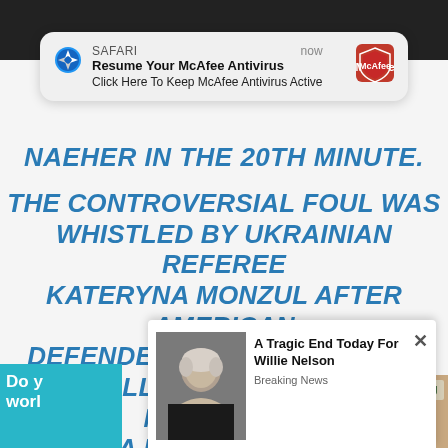[Figure (screenshot): Safari browser push notification overlay: 'Resume Your McAfee Antivirus - Click Here To Keep McAfee Antivirus Active' with McAfee logo, timestamped 'now']
NAEHER IN THE 20TH MINUTE.
THE CONTROVERSIAL FOUL WAS WHISTLED BY UKRAINIAN REFEREE KATERYNA MONZUL AFTER AMERICAN DEFENDER TIERNA DAVIDSON COLLIDED CANADIAN MIDFIELDER DEANNA ROSE'S LEG AS THEY CHASED
[Figure (screenshot): Ad popup: photo of Willie Nelson, headline 'A Tragic End Today For Willie Nelson', subheading 'Breaking News']
Do y... worl...